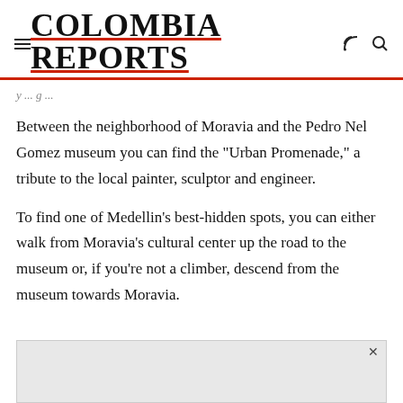COLOMBIA REPORTS
Between the neighborhood of Moravia and the Pedro Nel Gomez museum you can find the “Urban Promenade,” a tribute to the local painter, sculptor and engineer.
To find one of Medellin’s best-hidden spots, you can either walk from Moravia’s cultural center up the road to the museum or, if you’re not a climber, descend from the museum towards Moravia.
[Figure (other): Advertisement banner placeholder (grey box with close button)]